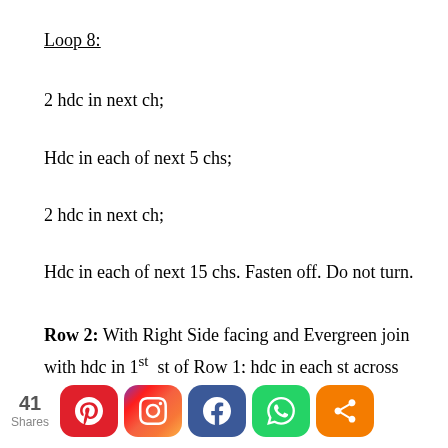Loop 8:
2 hdc in next ch;
Hdc in each of next 5 chs;
2 hdc in next ch;
Hdc in each of next 15 chs. Fasten off. Do not turn.
Row 2: With Right Side facing and Evergreen join with hdc in 1st st of Row 1; hdc in each st across except stitch marked with stitch marker and the stitch before that stitch: